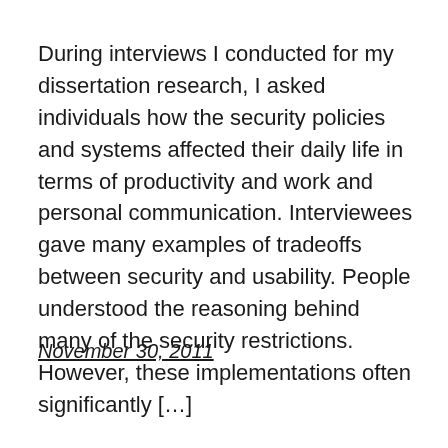During interviews I conducted for my dissertation research, I asked individuals how the security policies and systems affected their daily life in terms of productivity and work and personal communication. Interviewees gave many examples of tradeoffs between security and usability. People understood the reasoning behind many of the security restrictions. However, these implementations often significantly […]
November 30, 2011